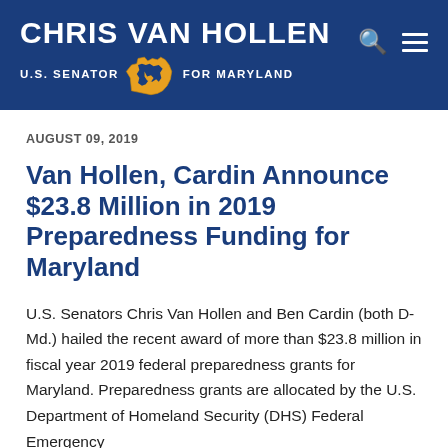[Figure (logo): Chris Van Hollen U.S. Senator for Maryland website header logo with Maryland state silhouette in gold]
AUGUST 09, 2019
Van Hollen, Cardin Announce $23.8 Million in 2019 Preparedness Funding for Maryland
U.S. Senators Chris Van Hollen and Ben Cardin (both D-Md.) hailed the recent award of more than $23.8 million in fiscal year 2019 federal preparedness grants for Maryland. Preparedness grants are allocated by the U.S. Department of Homeland Security (DHS) Federal Emergency